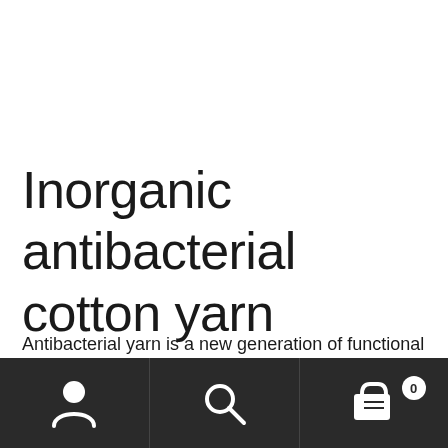Inorganic antibacterial cotton yarn
Antibacterial yarn is a new generation of functional and healthy textiles that combines antibacterial and moisture absorption and quick-drying functions. It combines the
[Figure (infographic): Mobile navigation bar with three icons: user/account icon, search icon, and shopping cart icon with badge showing 0]